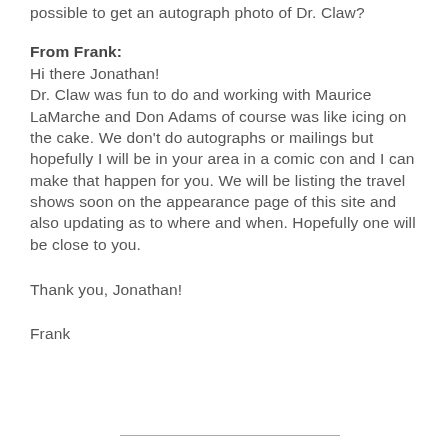possible to get an autograph photo of Dr. Claw?
From Frank:
Hi there Jonathan!
Dr. Claw was fun to do and working with Maurice LaMarche and Don Adams of course was like icing on the cake.  We don't do autographs or mailings but hopefully I will be in your area in a comic con and I can make that happen for you.  We will be listing the travel shows soon on the appearance page of this site and also updating as to where and when.  Hopefully one will be close to you.
Thank you, Jonathan!
Frank